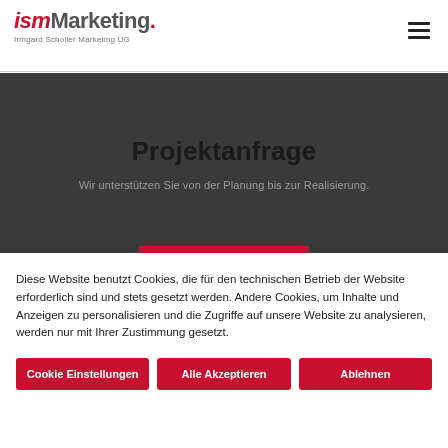ismMarketing. Irmgard Scholler Marketing UG
Projektanfrage
Wir unterstützen Sie von der Planung bis zur Realisierung.
Diese Website benutzt Cookies, die für den technischen Betrieb der Website erforderlich sind und stets gesetzt werden. Andere Cookies, um Inhalte und Anzeigen zu personalisieren und die Zugriffe auf unsere Website zu analysieren, werden nur mit Ihrer Zustimmung gesetzt.
Cookie Einstellungen
Alle Akzeptieren
Ablehnen